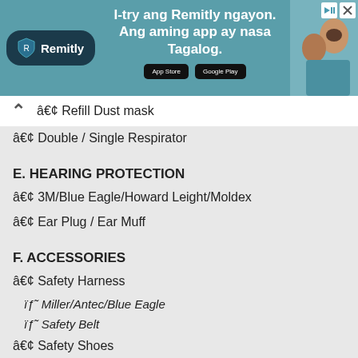[Figure (screenshot): Remitly advertisement banner with teal background, logo, tagline in Filipino 'I-try ang Remitly ngayon. Ang aming app ay nasa Tagalog.', app store download buttons, and photo of two people]
• Refill Dust mask
• Double / Single Respirator
E. HEARING PROTECTION
• 3M/Blue Eagle/Howard Leight/Moldex
• Ear Plug / Ear Muff
F. ACCESSORIES
• Safety Harness
ïƒ˜ Miller/Antec/Blue Eagle
ïƒ˜ Safety Belt
• Safety Shoes
ïƒ˜ Howler / Red Wings / Safesole / Footgard
• Head / Face Protection
ïƒ˜ Blue Eagle / MSA / Uvex